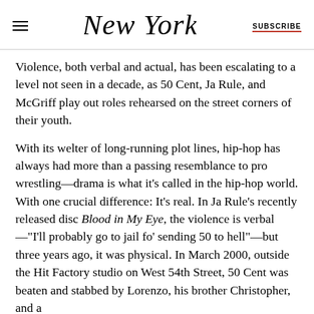New York | SUBSCRIBE
Violence, both verbal and actual, has been escalating to a level not seen in a decade, as 50 Cent, Ja Rule, and McGriff play out roles rehearsed on the street corners of their youth.
With its welter of long-running plot lines, hip-hop has always had more than a passing resemblance to pro wrestling—drama is what it’s called in the hip-hop world. With one crucial difference: It’s real. In Ja Rule’s recently released disc Blood in My Eye, the violence is verbal—“I’ll probably go to jail fo’ sending 50 to hell”—but three years ago, it was physical. In March 2000, outside the Hit Factory studio on West 54th Street, 50 Cent was beaten and stabbed by Lorenzo, his brother Christopher, and a